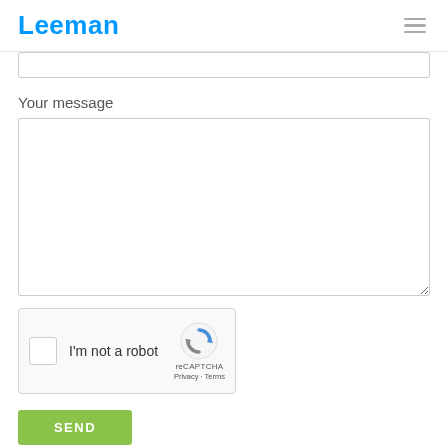Leeman
Your message
[Figure (screenshot): reCAPTCHA widget with checkbox 'I'm not a robot' and reCAPTCHA logo, Privacy and Terms links]
SEND